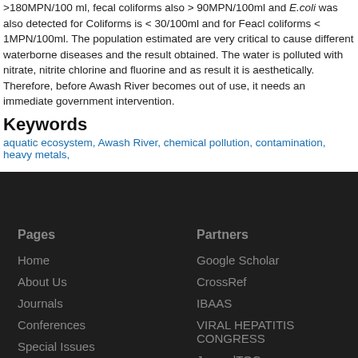>180MPN/100 ml, fecal coliforms also > 90MPN/100ml and E.coli was also detected for Coliforms is < 30/100ml and for Feacl coliforms < 1MPN/100ml. The population estimated are very critical to cause different waterborne diseases and the result obtained. The water is polluted with nitrate, nitrite chlorine and fluorine and as result it is aesthetically. Therefore, before Awash River becomes out of use, it needs an immediate government intervention.
Keywords
aquatic ecosystem, Awash River, chemical pollution, contamination, heavy metals,
Pages
Home
About Us
Journals
Conferences
Special Issues
Partners
Google Scholar
CrossRef
IBAAS
VIRAL HEPATITIS CONGRESS
JournalTOCs